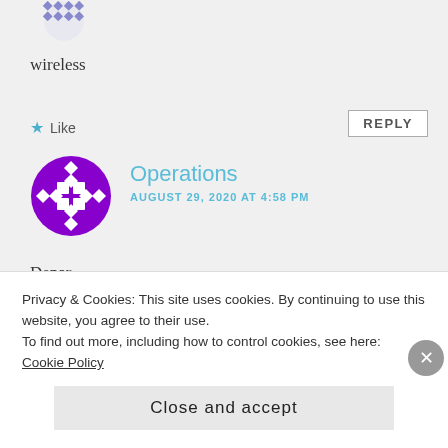[Figure (illustration): Partial blue diamond-pattern avatar icon at top]
wireless
★ Like
REPLY
[Figure (illustration): Purple circular avatar with white diamond and grid pattern]
Operations
AUGUST 29, 2020 AT 4:58 PM
Denar
★ Like
REPLY
Privacy & Cookies: This site uses cookies. By continuing to use this website, you agree to their use.
To find out more, including how to control cookies, see here: Cookie Policy
Close and accept